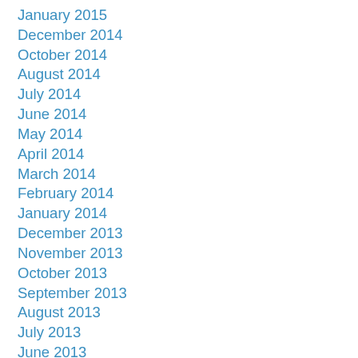January 2015
December 2014
October 2014
August 2014
July 2014
June 2014
May 2014
April 2014
March 2014
February 2014
January 2014
December 2013
November 2013
October 2013
September 2013
August 2013
July 2013
June 2013
May 2013
April 2013
February 2013